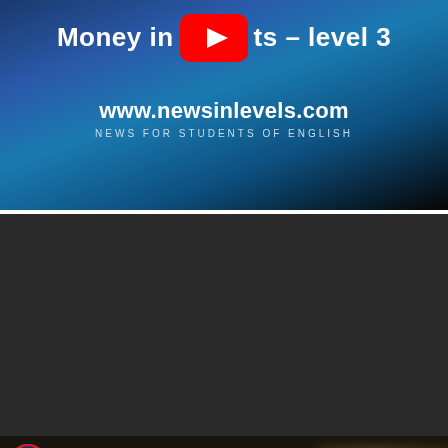[Figure (screenshot): YouTube video thumbnail for 'Money in [News in Levels] – level 3' showing a blue gradient background with the YouTube play button icon, website URL www.newsinlevels.com, and tagline NEWS FOR STUDENTS OF ENGLISH]
[Figure (screenshot): YouTube video thumbnail for 'Brazil: armed robbers raid banks in ...' from The Guardian, showing blurred soldiers in tactical gear on a dark street scene with a YouTube play button overlay and partial text 'The' at the bottom]